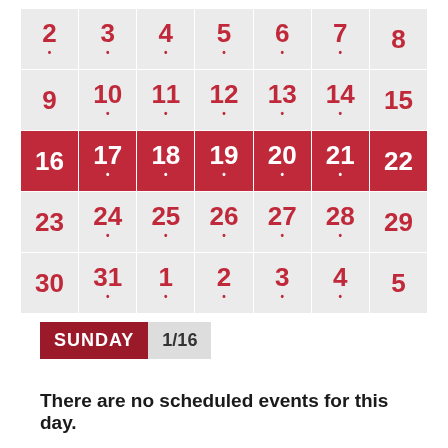[Figure (other): Monthly calendar grid showing dates 2-5, with week row 16-22 highlighted in red. Dots appear under many dates indicating events.]
SUNDAY 1/16
There are no scheduled events for this day.